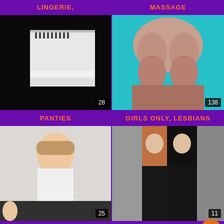LINGERIE,
MASSAGE
[Figure (photo): Dark image with bright white light/screen, count badge: 28]
[Figure (photo): Close-up photo on teal background, count badge: 138]
PANTIES
GIRLS ONLY, LESBIANS
[Figure (photo): Young woman smiling in white top, count badge: 25]
[Figure (photo): Two people in black leather pants in store, count badge: 11]
LATINA, BRAZILLIAN,
LATEX
[Figure (photo): Partial view of person at bottom]
[Figure (photo): Partial view of person with pink headwear at bottom]